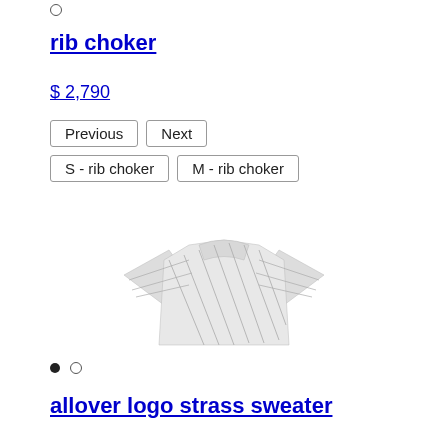○
rib choker
$ 2,790
Previous  Next  S - rib choker  M - rib choker
[Figure (photo): Product photo of an allover logo print sweater shown from front, cropped/small, white background]
● ○
allover logo strass sweater